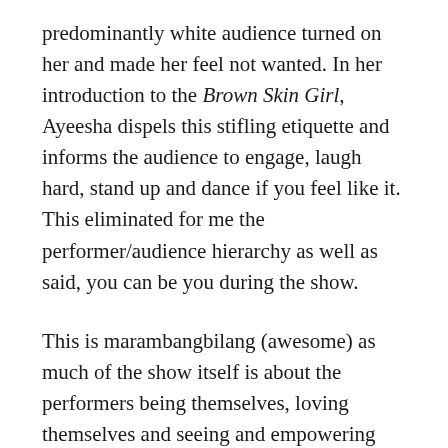predominantly white audience turned on her and made her feel not wanted. In her introduction to the Brown Skin Girl, Ayeesha dispels this stifling etiquette and informs the audience to engage, laugh hard, stand up and dance if you feel like it. This eliminated for me the performer/audience hierarchy as well as said, you can be you during the show.
This is marambangbilang (awesome) as much of the show itself is about the performers being themselves, loving themselves and seeing and empowering each other. In her recent article, Black Birds co-founder and Brown Skin Girl producer & assistant director, Emele Ugavule stated how “theatre should be an experience of